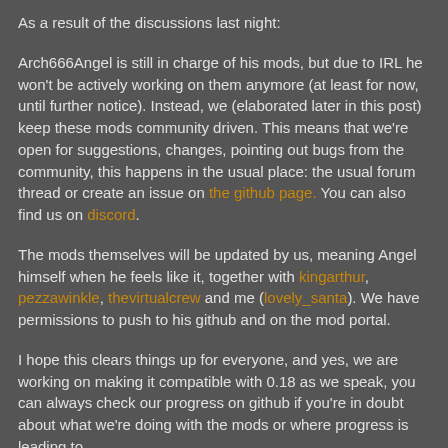As a result of the discussions last night:
Arch666Angel is still in charge of his mods, but due to IRL he won't be actively working on them anymore (at least for now, until further notice). Instead, we (elaborated later in this post) keep these mods community driven. This means that we're open for suggestions, changes, pointing out bugs from the community, this happens in the usual place: the usual forum thread or create an issue on the github page. You can also find us on discord.
The mods themselves will be updated by us, meaning Angel himself when he feels like it, together with kingarthur, pezzawinkle, thevirtualcrew and me (lovely_santa). We have permissions to push to his github and on the mod portal.
I hope this clears things up for everyone, and yes, we are working on making it compatible with 0.18 as we speak, you can always check our progress on github if you're in doubt about what we're doing with the mods or where progress is leading to.